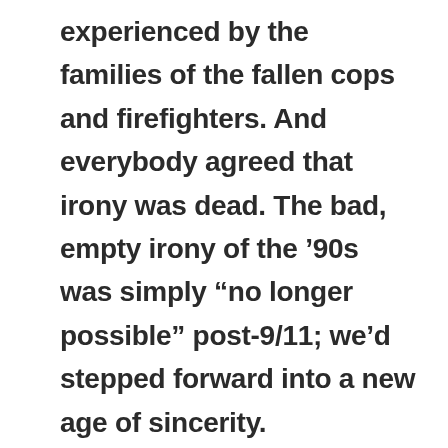experienced by the families of the fallen cops and firefighters. And everybody agreed that irony was dead. The bad, empty irony of the '90s was simply “no longer possible” post-9/11; we’d stepped forward into a new age of sincerity.